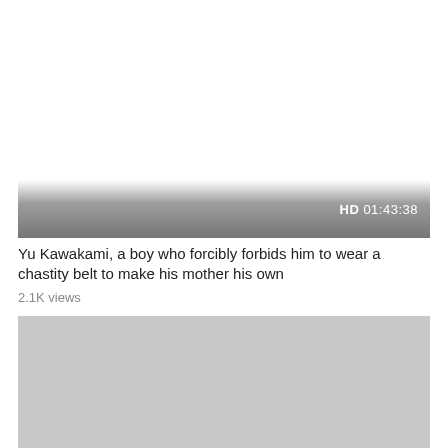[Figure (screenshot): Video thumbnail placeholder (white/light area) with a dark gradient bar at the bottom showing 'HD 01:43:38' in white text]
Yu Kawakami, a boy who forcibly forbids him to wear a chastity belt to make his mother his own
2.1K views
[Figure (photo): Second video thumbnail showing a light gray/silver placeholder image]